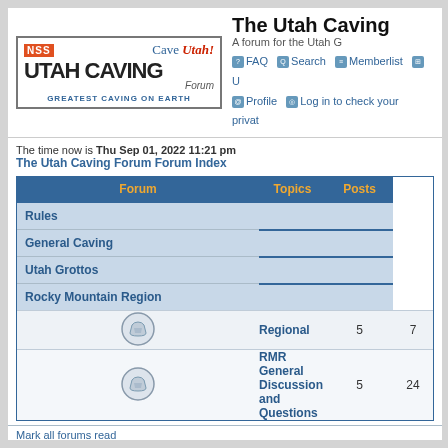The Utah Caving Forum - A forum for the Utah G
FAQ | Search | Memberlist | Profile | Log in to check your private
The time now is Thu Sep 01, 2022 11:21 pm
The Utah Caving Forum Forum Index
| Forum | Topics | Posts |
| --- | --- | --- |
| Rules |  |  |
| General Caving |  |  |
| Utah Grottos |  |  |
| Rocky Mountain Region |  |  |
| Regional | 5 | 7 |
| RMR General Discussion and Questions | 5 | 24 |
Mark all forums read
Who is Online